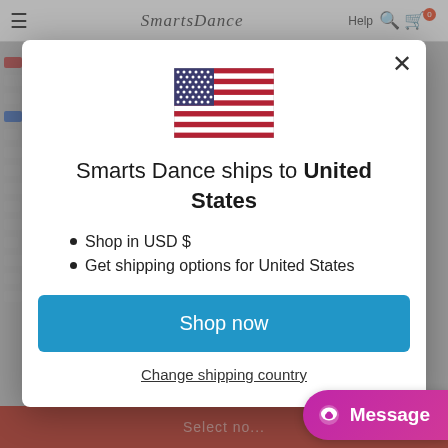[Figure (screenshot): Website navigation bar showing hamburger menu, SmartsDance logo, Help link, search icon, and cart icon with badge showing 0]
[Figure (illustration): US flag illustration shown inside the modal dialog]
Smarts Dance ships to United States
Shop in USD $
Get shipping options for United States
Shop now
Change shipping country
[Figure (screenshot): Message chat button (pink/magenta) in bottom right corner with chat bubble icon]